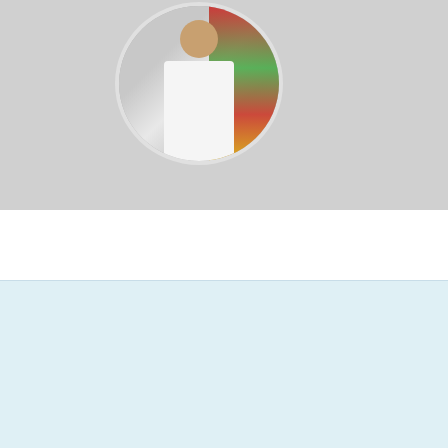[Figure (photo): Doctor in white coat standing in front of colorful artwork, shown in a circular cropped profile image on a gray card with speech bubble tail]
More relavent option
| Basic Catagories: |
| --- |
| Male tutor in dhaka |
| Lady tutor in dhaka |